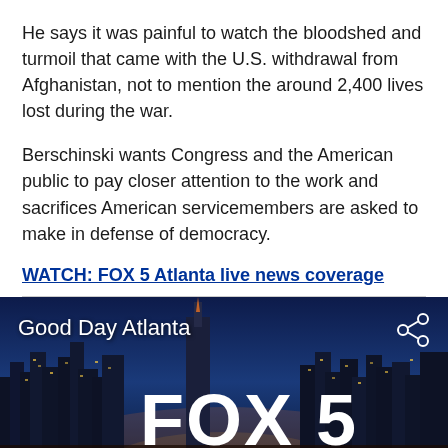He says it was painful to watch the bloodshed and turmoil that came with the U.S. withdrawal from Afghanistan, not to mention the around 2,400 lives lost during the war.
Berschinski wants Congress and the American public to pay closer attention to the work and sacrifices American servicemembers are asked to make in defense of democracy.
WATCH: FOX 5 Atlanta live news coverage
[Figure (screenshot): FOX 5 Atlanta video thumbnail showing city skyline at night with 'Good Day Atlanta' text and FOX 5 logo, plus a share icon in the top right corner.]